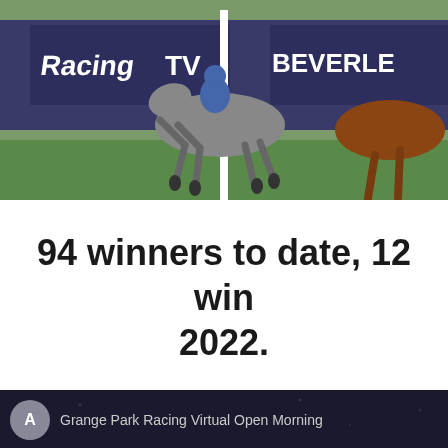[Figure (photo): Horse racing photo at Beverley racecourse. A grey horse with blue-clad jockey leaping/galloping in front of advertising boards reading 'Racing TV' and 'BEVERLEY'. A chestnut horse is partially visible on the right edge. Green turf in background.]
94 winners to date, 12 winners in 2022.
[Figure (photo): Grange Park Racing Virtual Open Morning - dark background with logo icon and partial text visible at bottom of page.]